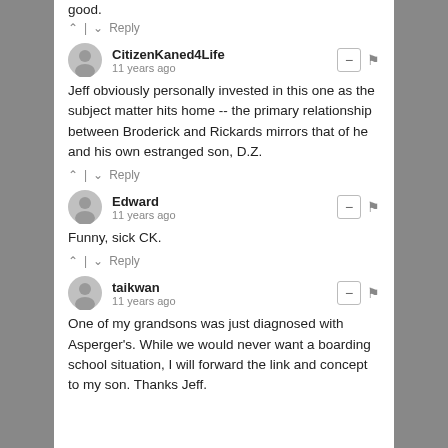good.
^ | v Reply
CitizenKaned4Life
11 years ago
Jeff obviously personally invested in this one as the subject matter hits home -- the primary relationship between Broderick and Rickards mirrors that of he and his own estranged son, D.Z.
^ | v Reply
Edward
11 years ago
Funny, sick CK.
^ | v Reply
taikwan
11 years ago
One of my grandsons was just diagnosed with Asperger's. While we would never want a boarding school situation, I will forward the link and concept to my son. Thanks Jeff.